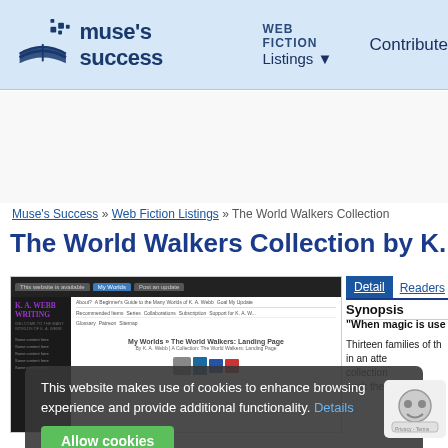muse's success | WEB FICTION Listings | Contribute
[Figure (screenshot): Screenshot of K. A. Webb Writing website showing navigation and landing page for The World Walkers collection]
Muse's Success » Web Fiction Listings » The World Walkers Collection
The World Walkers Collection by K. A. Web
Detail | Readers
Synopsis
"When magic is use
Thirteen families of th... in an atte... collection... work the
This website makes use of cookies to enhance browsing experience and provide additional functionality. Details Allow cookies